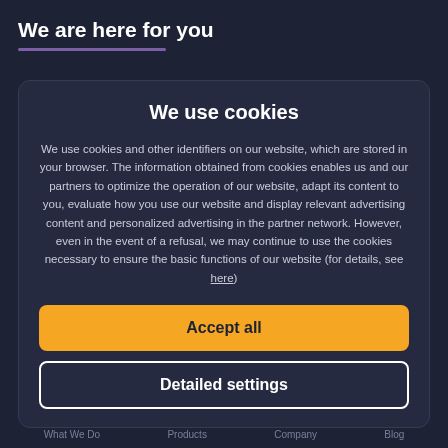We are here for you
We use cookies
We use cookies and other identifiers on our website, which are stored in your browser. The information obtained from cookies enables us and our partners to optimize the operation of our website, adapt its content to you, evaluate how you use our website and display relevant advertising content and personalized advertising in the partner network. However, even in the event of a refusal, we may continue to use the cookies necessary to ensure the basic functions of our website (for details, see here)
Accept all
Detailed settings
What We Do   Products   Company   Blog